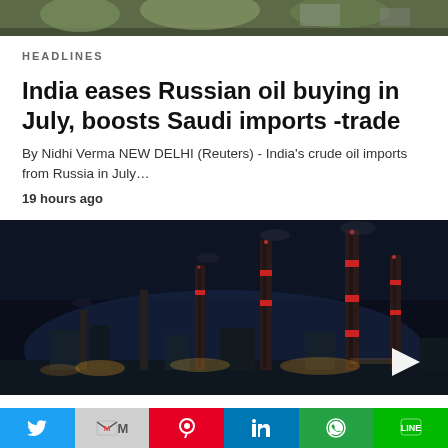[Figure (photo): Top image showing outdoor scene with greenery and structures]
HEADLINES
India eases Russian oil buying in July, boosts Saudi imports -trade
By Nidhi Verma NEW DELHI (Reuters) - India's crude oil imports from Russia in July…
19 hours ago
[Figure (photo): Night-time industrial refinery scene with smokestacks and lights]
Social sharing bar: Twitter, Gmail, Pinterest, LinkedIn, WhatsApp, LINE